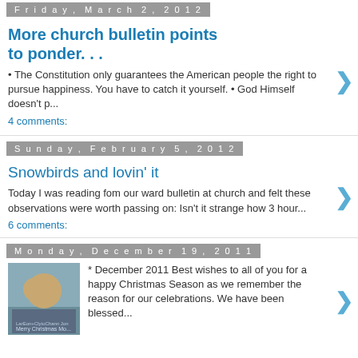Friday, March 2, 2012
More church bulletin points to ponder. . .
• The Constitution only guarantees the American people the right to pursue happiness. You have to catch it yourself. • God Himself doesn't p...
4 comments:
Sunday, February 5, 2012
Snowbirds and lovin' it
Today I was reading fom our ward bulletin at church and felt these observations were worth passing on: Isn't it strange how 3 hour...
6 comments:
Monday, December 19, 2011
* December 2011 Best wishes to all of you for a happy Christmas Season as we remember the reason for our celebrations. We have been blessed...